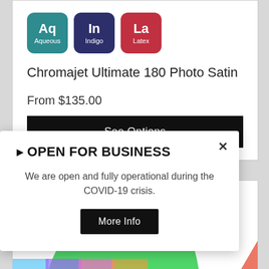[Figure (illustration): Three colored icon badges: Aq (Aqueous, teal), In (Indigo, dark blue), La (Latex, red)]
Chromajet Ultimate 180 Photo Satin
From $135.00
See Options
[Figure (illustration): Partial green curved shape — product image cropped at bottom of page]
OPEN FOR BUSINESS
We are open and fully operational during the COVID-19 crisis.
More Info